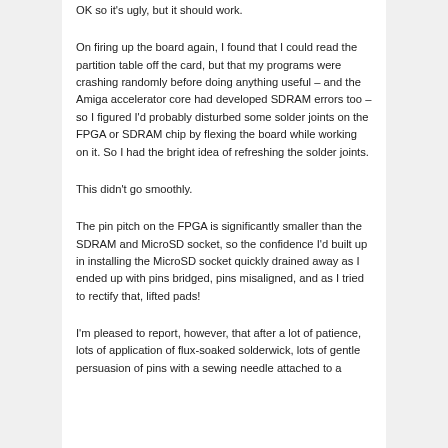OK so it's ugly, but it should work.
On firing up the board again, I found that I could read the partition table off the card, but that my programs were crashing randomly before doing anything useful – and the Amiga accelerator core had developed SDRAM errors too – so I figured I'd probably disturbed some solder joints on the FPGA or SDRAM chip by flexing the board while working on it.  So I had the bright idea of refreshing the solder joints.
This didn't go smoothly.
The pin pitch on the FPGA is significantly smaller than the SDRAM and MicroSD socket, so the confidence I'd built up in installing the MicroSD socket quickly drained away as I ended up with pins bridged, pins misaligned, and as I tried to rectify that, lifted pads!
I'm pleased to report, however, that after a lot of patience, lots of application of flux-soaked solderwick, lots of gentle persuasion of pins with a sewing needle attached to a